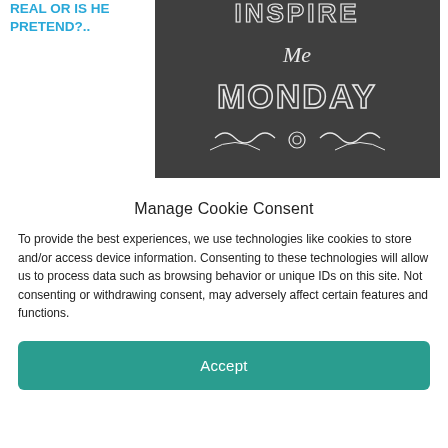REAL OR IS HE PRETEND?..
[Figure (photo): Chalkboard style image with white text reading 'Inspire Me Monday' with decorative flourishes]
Manage Cookie Consent
To provide the best experiences, we use technologies like cookies to store and/or access device information. Consenting to these technologies will allow us to process data such as browsing behavior or unique IDs on this site. Not consenting or withdrawing consent, may adversely affect certain features and functions.
Accept